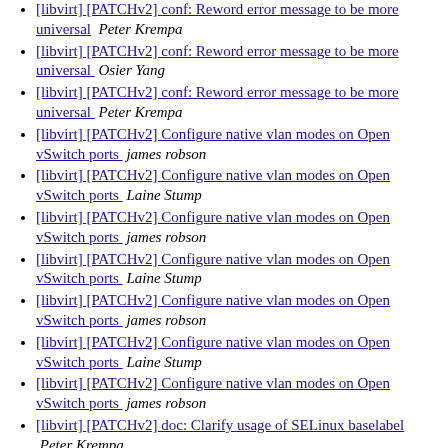[libvirt] [PATCHv2] conf: Reword error message to be more universal   Peter Krempa
[libvirt] [PATCHv2] conf: Reword error message to be more universal   Osier Yang
[libvirt] [PATCHv2] conf: Reword error message to be more universal   Peter Krempa
[libvirt] [PATCHv2] Configure native vlan modes on Open vSwitch ports   james robson
[libvirt] [PATCHv2] Configure native vlan modes on Open vSwitch ports   Laine Stump
[libvirt] [PATCHv2] Configure native vlan modes on Open vSwitch ports   james robson
[libvirt] [PATCHv2] Configure native vlan modes on Open vSwitch ports   Laine Stump
[libvirt] [PATCHv2] Configure native vlan modes on Open vSwitch ports   james robson
[libvirt] [PATCHv2] Configure native vlan modes on Open vSwitch ports   Laine Stump
[libvirt] [PATCHv2] Configure native vlan modes on Open vSwitch ports   james robson
[libvirt] [PATCHv2] doc: Clarify usage of SELinux baselabel   Peter Krempa
[libvirt] [PATCHv2] doc: Clarify usage of SELinux baselabel   Eric Blake
[libvirt] [PATCHv2] doc: Clarify usage of SELinux baselabel   Peter Krempa
[libvirt] [PATCHv2] Fix compilation error in